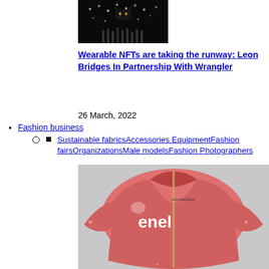[Figure (photo): Dark artistic photo with lights/dots pattern and what appears to be a cat silhouette]
Wearable NFTs are taking the runway: Leon Bridges In Partnership With Wrangler
26 March, 2022
Fashion business
Sustainable fabricsAccessories EquipmentFashion fairsOrganizationsMale modelsFashion Photographers
[Figure (photo): Pink/red cycling jersey with enel branding on grey background]